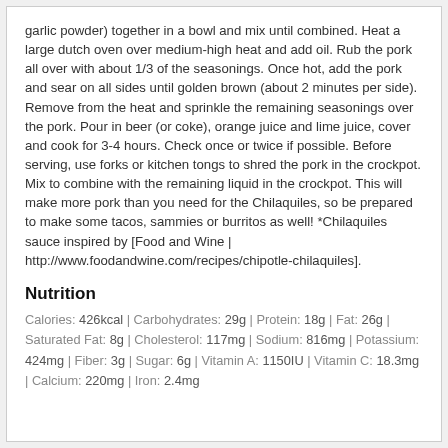garlic powder) together in a bowl and mix until combined. Heat a large dutch oven over medium-high heat and add oil. Rub the pork all over with about 1/3 of the seasonings. Once hot, add the pork and sear on all sides until golden brown (about 2 minutes per side). Remove from the heat and sprinkle the remaining seasonings over the pork. Pour in beer (or coke), orange juice and lime juice, cover and cook for 3-4 hours. Check once or twice if possible. Before serving, use forks or kitchen tongs to shred the pork in the crockpot. Mix to combine with the remaining liquid in the crockpot. This will make more pork than you need for the Chilaquiles, so be prepared to make some tacos, sammies or burritos as well! *Chilaquiles sauce inspired by [Food and Wine | http://www.foodandwine.com/recipes/chipotle-chilaquiles].
Nutrition
Calories: 426kcal | Carbohydrates: 29g | Protein: 18g | Fat: 26g | Saturated Fat: 8g | Cholesterol: 117mg | Sodium: 816mg | Potassium: 424mg | Fiber: 3g | Sugar: 6g | Vitamin A: 1150IU | Vitamin C: 18.3mg | Calcium: 220mg | Iron: 2.4mg